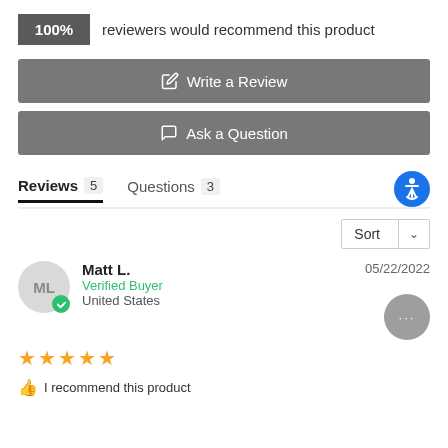100% reviewers would recommend this product
Write a Review
Ask a Question
Reviews 5  Questions 3
Sort
Matt L. — Verified Buyer — United States — 05/22/2022 — ★★★★★ — I recommend this product